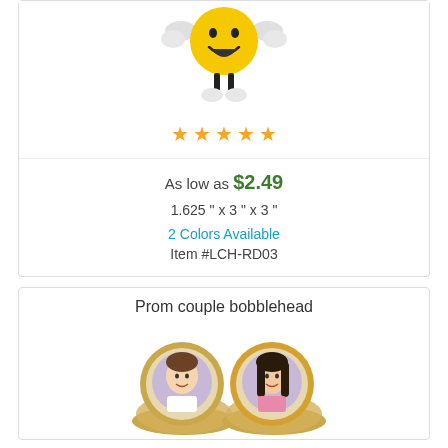[Figure (photo): Yellow emoji stress ball figure with arms and legs, smiling face]
[Figure (other): Five orange/gold star rating icons]
As low as $2.49
1.625 " x 3 " x 3 "
2 Colors Available
Item #LCH-RD03
Prom couple bobblehead
[Figure (photo): Prom couple bobblehead showing two circular frames with photos of a young man and woman]